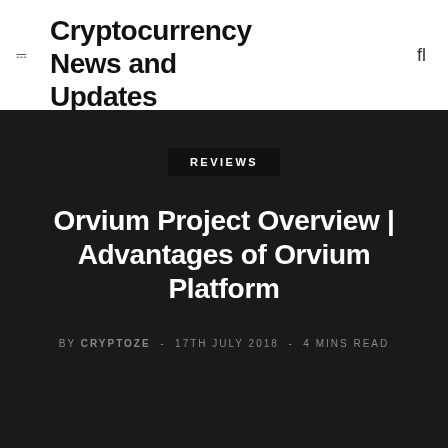Cryptocurrency News and Updates
REVIEWS
Orvium Project Overview | Advantages of Orvium Platform
BY CRYPTOZE - 17TH JULY 2018 - 4 MINS READ